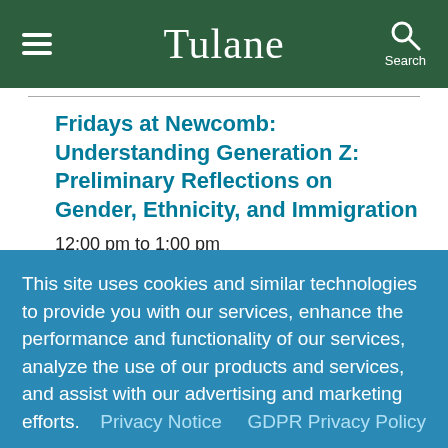Tulane
Fridays at Newcomb: Understanding Generation Z: Preliminary Reflections on Gender, Ethnicity, and Immigration
12:00 pm to 1:00 pm
Uptown Campus, Newcomb Institute, the
This site uses cookies and similar technologies to provide you with our services, enhance the performance and functionality of our services, analyze the use of our products and services, and assist with our advertising and marketing efforts.  Privacy Notice  GDPR Privacy Policy
ACCEPT  Decline